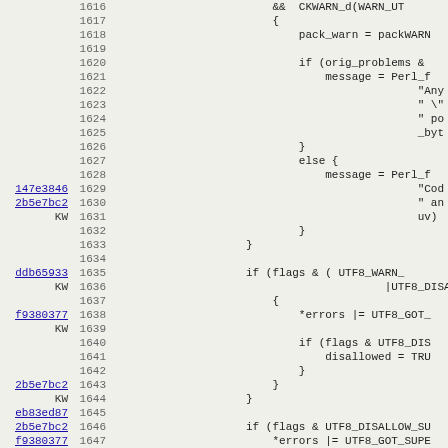[Figure (screenshot): Source code viewer showing lines 1616-1648 of a C/Perl file with line numbers, commit hashes, and code content including UTF8 warning/disallow logic]